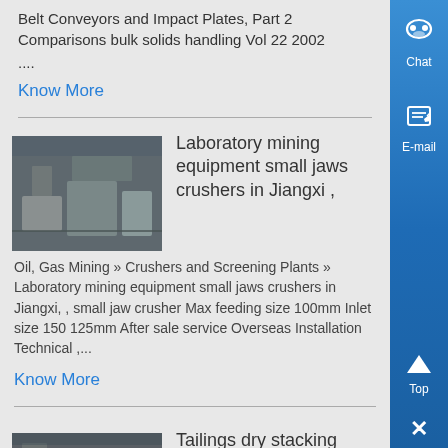Belt Conveyors and Impact Plates, Part 2 Comparisons bulk solids handling Vol 22 2002
....
Know More
[Figure (photo): Industrial mining equipment in a factory setting]
Laboratory mining equipment small jaws crushers in Jiangxi ,
Oil, Gas Mining » Crushers and Screening Plants » Laboratory mining equipment small jaws crushers in Jiangxi, , small jaw crusher Max feeding size 100mm Inlet size 150 125mm After sale service Overseas Installation Technical ,...
Know More
[Figure (photo): Industrial mineral dressing equipment]
Tailings dry stacking mineral dressing no longer called ,